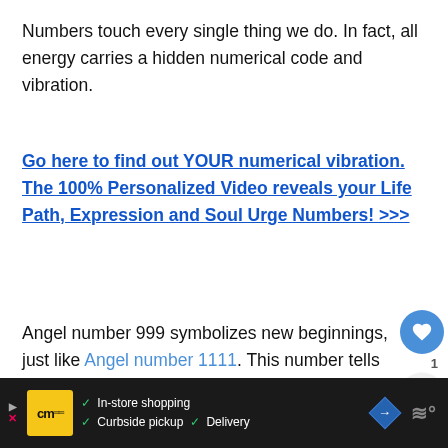Numbers touch every single thing we do. In fact, all energy carries a hidden numerical code and vibration.
Go here to find out YOUR numerical vibration. The 100% Personalized Video reveals your Life Path, Expression and Soul Urge Numbers! >>>
Angel number 999 symbolizes new beginnings, just like Angel number 1111. This number tells you that a new chapter of your life is about to unfold and brings new opportunities along the w...
[Figure (screenshot): Ad banner at bottom: dark background with cm logo, checkmarks for In-store shopping, Curbside pickup, Delivery, a blue diamond navigation icon, and a wavy icon on right.]